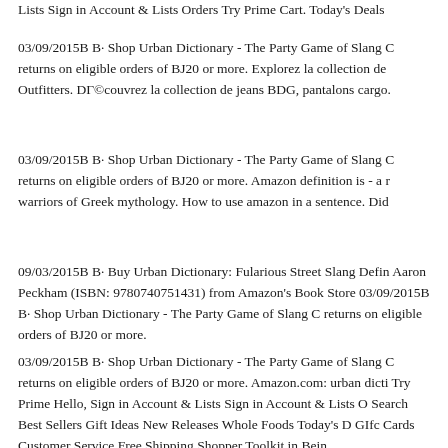Lists Sign in Account & Lists Orders Try Prime Cart. Today's Deals
03/09/2015B B· Shop Urban Dictionary - The Party Game of Slang C returns on eligible orders of BJ20 or more. Explorez la collection de Outfitters. DГ©couvrez la collection de jeans BDG, pantalons cargo.
03/09/2015B B· Shop Urban Dictionary - The Party Game of Slang C returns on eligible orders of BJ20 or more. Amazon definition is - a r warriors of Greek mythology. How to use amazon in a sentence. Did
09/03/2015B B· Buy Urban Dictionary: Fularious Street Slang Defin Aaron Peckham (ISBN: 9780740751431) from Amazon's Book Store 03/09/2015B B· Shop Urban Dictionary - The Party Game of Slang C returns on eligible orders of BJ20 or more.
03/09/2015B B· Shop Urban Dictionary - The Party Game of Slang C returns on eligible orders of BJ20 or more. Amazon.com: urban dicti Try Prime Hello, Sign in Account & Lists Sign in Account & Lists O Search Best Sellers Gift Ideas New Releases Whole Foods Today's D GIfc Cards Customer Service Free Shipping Shopper Toolkit in Bein